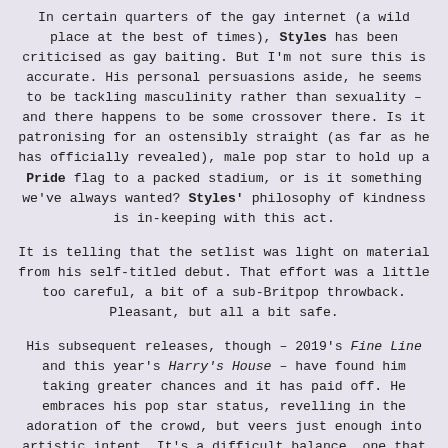In certain quarters of the gay internet (a wild place at the best of times), Styles has been criticised as gay baiting. But I'm not sure this is accurate. His personal persuasions aside, he seems to be tackling masculinity rather than sexuality – and there happens to be some crossover there. Is it patronising for an ostensibly straight (as far as he has officially revealed), male pop star to hold up a Pride flag to a packed stadium, or is it something we've always wanted? Styles' philosophy of kindness is in-keeping with this act.
It is telling that the setlist was light on material from his self-titled debut. That effort was a little too careful, a bit of a sub-Britpop throwback. Pleasant, but all a bit safe.
His subsequent releases, though – 2019's Fine Line and this year's Harry's House – have found him taking greater chances and it has paid off. He embraces his pop star status, revelling in the adoration of the crowd, but veers just enough into artistic intent. It's a difficult balance, one that most of his forebearers and none of